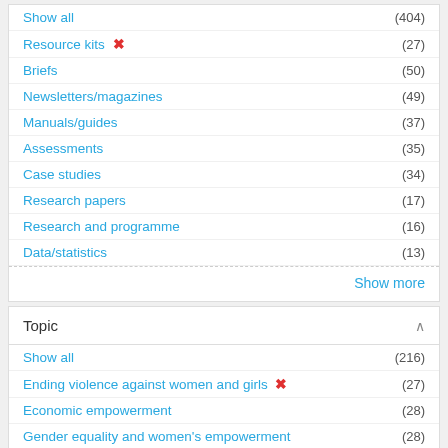Show all (404)
Resource kits ✕ (27)
Briefs (50)
Newsletters/magazines (49)
Manuals/guides (37)
Assessments (35)
Case studies (34)
Research papers (17)
Research and programme (16)
Data/statistics (13)
Show more
Topic
Show all (216)
Ending violence against women and girls ✕ (27)
Economic empowerment (28)
Gender equality and women's empowerment (28)